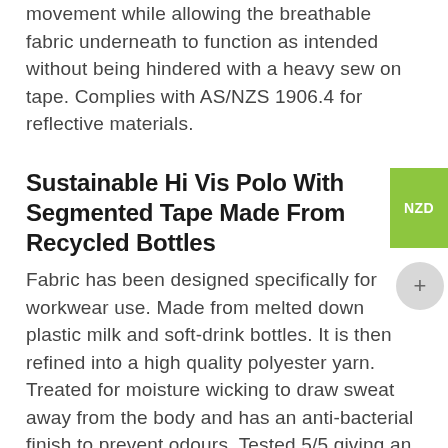movement while allowing the breathable fabric underneath to function as intended without being hindered with a heavy sew on tape. Complies with AS/NZS 1906.4 for reflective materials.
Sustainable Hi Vis Polo With Segmented Tape Made From Recycled Bottles
Fabric has been designed specifically for workwear use. Made from melted down plastic milk and soft-drink bottles. It is then refined into a high quality polyester yarn. Treated for moisture wicking to draw sweat away from the body and has an anti-bacterial finish to prevent odours. Tested 5/5 giving an excellent rating for fade resistance under UV light. A